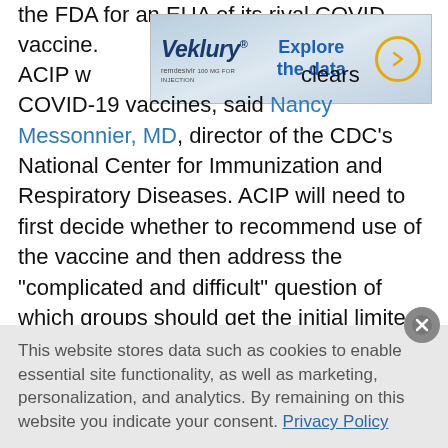the FDA for an EUA of its rival COVID vaccine.
[Figure (other): Veklury (remdesivir) advertisement banner with 'Explore the data' call to action and arrow button]
ACIP will meet within days after the FDA clears COVID-19 vaccines, said Nancy Messonnier, MD, director of the CDC's National Center for Immunization and Respiratory Diseases. ACIP will need to first decide whether to recommend use of the vaccine and then address the "complicated and difficult" question of which groups should get the initial limited quantities.
“There aren’t any perfect decisions,” she told the ACIP members. “I know this is something that most of you didn’t anticipate doing, making these kinds of huge decisions in the midst of a
This website stores data such as cookies to enable essential site functionality, as well as marketing, personalization, and analytics. By remaining on this website you indicate your consent. Privacy Policy